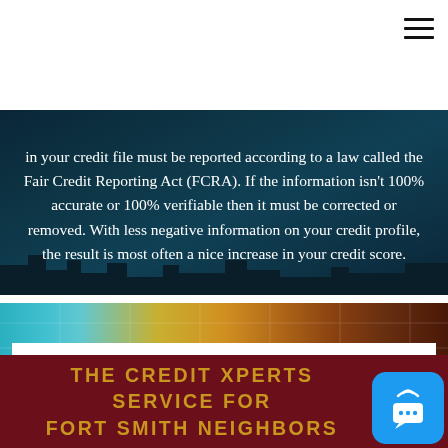[Figure (screenshot): White top navigation bar with hamburger menu icon in upper right corner]
in your credit file must be reported according to a law called the Fair Credit Reporting Act (FCRA). If the information isn't 100% accurate or 100% verifiable then it must be corrected or removed. With less negative information on your credit profile, the result is most often a nice increase in your credit score.
[Figure (photo): Banner with colorful abstract background blending blue, gold, and orange tones suggesting money/finance theme]
CLICK HERE TO TALK TO A CREDIT SPECIALIST
THE CREDIT XPERTS SERVICE FOR FORT SMITH NEIGHBORS
[Figure (other): Blue chat widget icon in lower right corner]